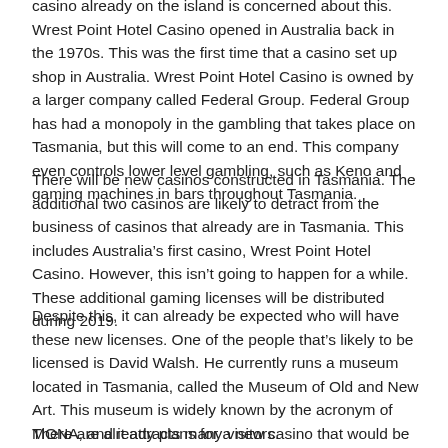casino already on the island is concerned about this. Wrest Point Hotel Casino opened in Australia back in the 1970s. This was the first time that a casino set up shop in Australia. Wrest Point Hotel Casino is owned by a larger company called Federal Group. Federal Group has had a monopoly in the gambling that takes place on Tasmania, but this will come to an end. This company even controls lower level gambling, such as Keno and gaming machines in bars throughout Tasmania.
There will be new casinos constructed in Tasmania. The additional two casinos are likely to detract from the business of casinos that already are in Tasmania. This includes Australia’s first casino, Wrest Point Hotel Casino. However, this isn’t going to happen for a while. These additional gaming licenses will be distributed during 2019.
Despite this, it can already be expected who will have these new licenses. One of the people that’s likely to be licensed is David Walsh. He currently runs a museum located in Tasmania, called the Museum of Old and New Art. This museum is widely known by the acronym of MONA, and it attracts many visitors.
There are already plans for a new casino that would be built by David Walsh. David Walsh is planning to make a casino that